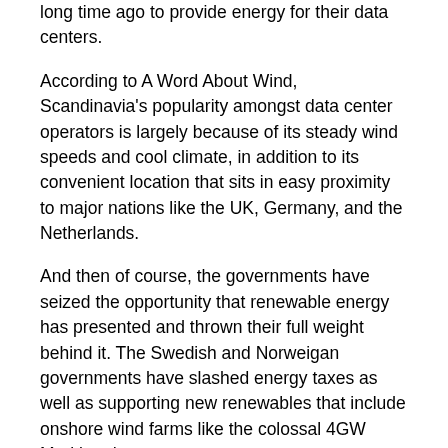long time ago to provide energy for their data centers.
According to A Word About Wind, Scandinavia's popularity amongst data center operators is largely because of its steady wind speeds and cool climate, in addition to its convenient location that sits in easy proximity to major nations like the UK, Germany, and the Netherlands.
And then of course, the governments have seized the opportunity that renewable energy has presented and thrown their full weight behind it. The Swedish and Norweigan governments have slashed energy taxes as well as supporting new renewables that include onshore wind farms like the colossal 4GW Markbygden.
Furthermore, the attraction of the low prices within the Scandinavian market have enticed multinational corporates to commit to long-term PPAs with the